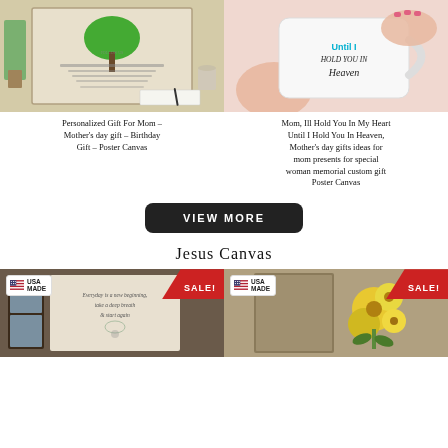[Figure (photo): Personalized canvas art with a tree and inspirational text, displayed on a shelf with a plant and notebook]
[Figure (photo): White mug with text 'Until I Hold You In Heaven' being held by hands with pink nails]
Personalized Gift For Mom – Mother's day gift – Birthday Gift – Poster Canvas
Mom, Ill Hold You In My Heart Until I Hold You In Heaven, Mother's day gifts ideas for mom presents for special woman memorial custom gift Poster Canvas
[Figure (other): VIEW MORE button - dark rounded rectangle with white uppercase text]
Jesus Canvas
[Figure (photo): Canvas print with text 'Everyday is a new beginning, take a deep breath & start again', USA Made badge, SALE! banner]
[Figure (photo): Canvas or product with yellow flowers, USA Made badge, SALE! banner]